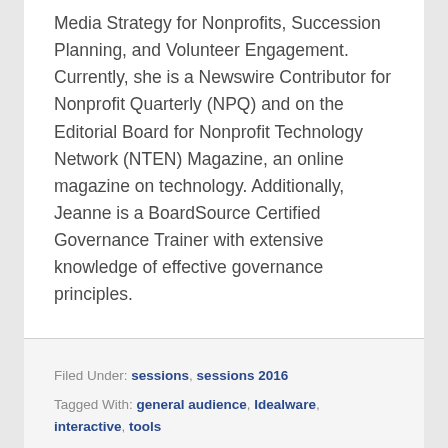Media Strategy for Nonprofits, Succession Planning, and Volunteer Engagement. Currently, she is a Newswire Contributor for Nonprofit Quarterly (NPQ) and on the Editorial Board for Nonprofit Technology Network (NTEN) Magazine, an online magazine on technology. Additionally, Jeanne is a BoardSource Certified Governance Trainer with extensive knowledge of effective governance principles.
Filed Under: sessions, sessions 2016
Tagged With: general audience, Idealware, interactive, tools